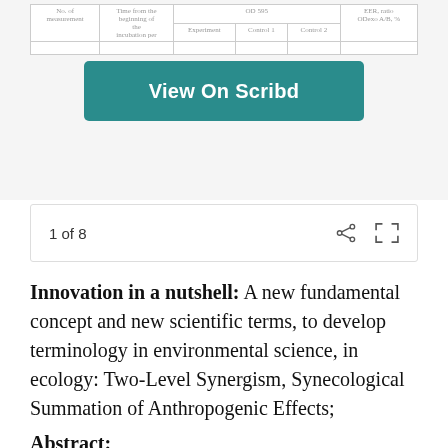[Figure (table-as-image): Partial table showing columns: No. of measurement, Time from the beginning of the incubation period, OD 595 (Experiment, Control 1, Control 2), EER ratio ODexo A/B %]
[Figure (other): Teal/green button labeled 'View On Scribd']
1 of 8
Innovation in a nutshell: A new fundamental concept and new scientific terms, to develop terminology in environmental science, in ecology: Two-Level Synergism, Synecological Summation of Anthropogenic Effects;
Abstract:
The author identified a new type of environmental hazard of anthropogenic impact (considering chemical pollution of water as an example). He proposed to term this new hazard